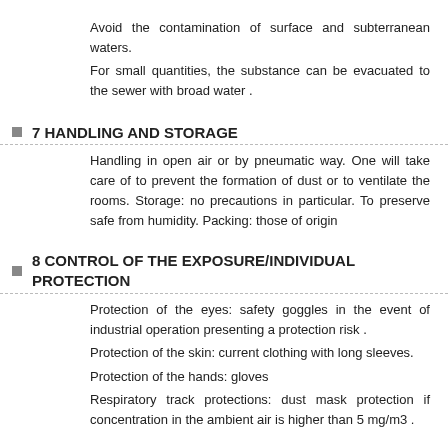Avoid the contamination of surface and subterranean waters.
For small quantities, the substance can be evacuated to the sewer with broad water .
7 HANDLING AND STORAGE
Handling in open air or by pneumatic way. One will take care of to prevent the formation of dust or to ventilate the rooms. Storage: no precautions in particular. To preserve safe from humidity. Packing: those of origin
8 CONTROL OF THE EXPOSURE/INDIVIDUAL PROTECTION
Protection of the eyes: safety goggles in the event of industrial operation presenting a protection risk .
Protection of the skin: current clothing with long sleeves.
Protection of the hands: gloves
Respiratory track protections: dust mask protection if concentration in the ambient air is higher than 5 mg/m3 .